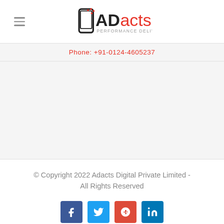[Figure (logo): ADacts Performance Delivered logo with stylized phone icon and red/black text]
Phone: +91-0124-4605237
© Copyright 2022 Adacts Digital Private Limited - All Rights Reserved
[Figure (infographic): Social media icons: Facebook, Twitter, Google+, LinkedIn]